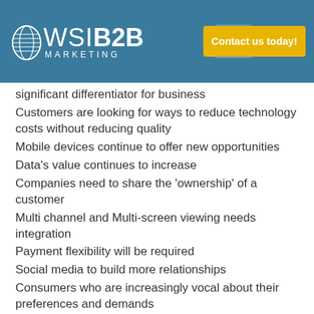WSI B2B MARKETING — Contact us today!
significant differentiator for business
Customers are looking for ways to reduce technology costs without reducing quality
Mobile devices continue to offer new opportunities
Data's value continues to increase
Companies need to share the 'ownership' of a customer
Multi channel and Multi-screen viewing needs integration
Payment flexibility will be required
Social media to build more relationships
Consumers who are increasingly vocal about their preferences and demands
Online influence for all aspects of B2B and B2C is still growing rapidly